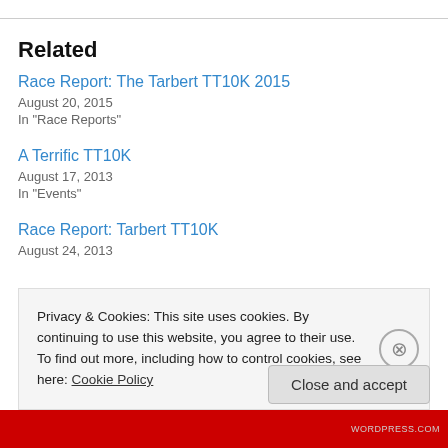Related
Race Report: The Tarbert TT10K 2015
August 20, 2015
In "Race Reports"
A Terrific TT10K
August 17, 2013
In "Events"
Race Report: Tarbert TT10K
August 24, 2013
Privacy & Cookies: This site uses cookies. By continuing to use this website, you agree to their use.
To find out more, including how to control cookies, see here: Cookie Policy